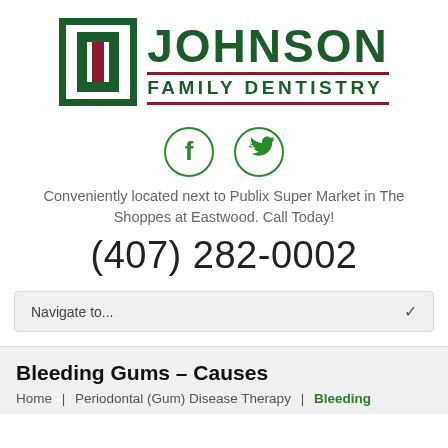[Figure (logo): Johnson Family Dentistry logo with green J icon and text]
[Figure (illustration): Facebook and Twitter social media icons in green circles]
Conveniently located next to Publix Super Market in The Shoppes at Eastwood. Call Today!
(407) 282-0002
Navigate to...
Bleeding Gums – Causes
Home | Periodontal (Gum) Disease Therapy | Bleeding